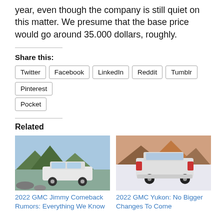year, even though the company is still quiet on this matter. We presume that the base price would go around 35.000 dollars, roughly.
Share this:
Twitter
Facebook
LinkedIn
Reddit
Tumblr
Pinterest
Pocket
Related
[Figure (photo): 2022 GMC Jimmy SUV parked near a lake with mountains in the background]
2022 GMC Jimmy Comeback Rumors: Everything We Know
[Figure (photo): 2022 GMC Yukon white SUV on a snowy road with mountains in the background]
2022 GMC Yukon: No Bigger Changes To Come